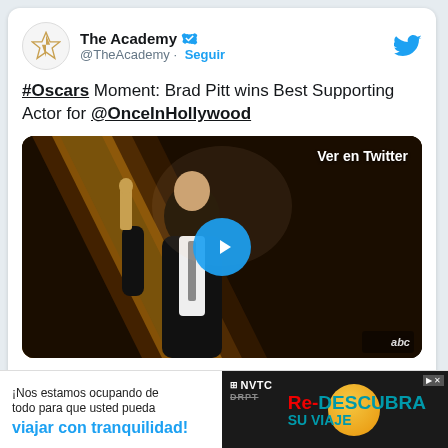The Academy @TheAcademy · Seguir
#Oscars Moment: Brad Pitt wins Best Supporting Actor for @OnceInHollywood
[Figure (screenshot): Video thumbnail showing Brad Pitt holding Oscar statuette on stage, with 'Ver en Twitter' label and play button overlay, ABC logo in corner]
¡Nos estamos ocupando de todo para que usted pueda viajar con tranquilidad! Re-DESCUBRA SU VIAJE